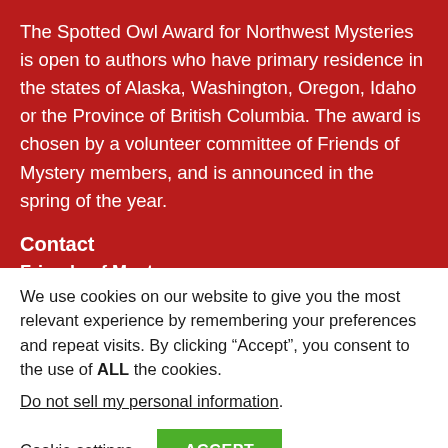The Spotted Owl Award for Northwest Mysteries is open to authors who have primary residence in the states of Alaska, Washington, Oregon, Idaho or the Province of British Columbia. The award is chosen by a volunteer committee of Friends of Mystery members, and is announced in the spring of the year.
Contact
Friends of Mystery
We use cookies on our website to give you the most relevant experience by remembering your preferences and repeat visits. By clicking “Accept”, you consent to the use of ALL the cookies.
Do not sell my personal information.
Cookie settings  ACCEPT